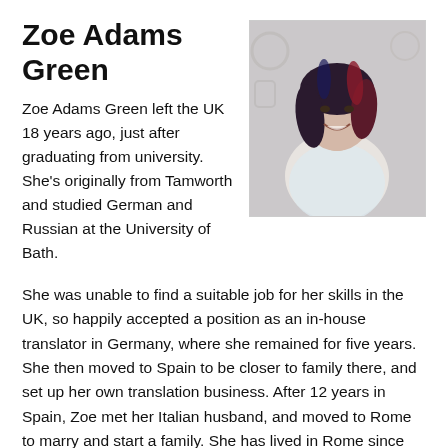Zoe Adams Green
[Figure (photo): Photo of Zoe Adams Green, a woman with dark red and blue-highlighted hair, smiling, wearing a light sleeveless top, photographed against a decorative background.]
Zoe Adams Green left the UK 18 years ago, just after graduating from university. She's originally from Tamworth and studied German and Russian at the University of Bath.
She was unable to find a suitable job for her skills in the UK, so happily accepted a position as an in-house translator in Germany, where she remained for five years. She then moved to Spain to be closer to family there, and set up her own translation business. After 12 years in Spain, Zoe met her Italian husband, and moved to Rome to marry and start a family. She has lived in Rome since July 2017, and the couple now have a six-month-old baby.
Although Zoe was able to vote in the 2016 referendum, she was disenfranchised soon afterwards. Despite having